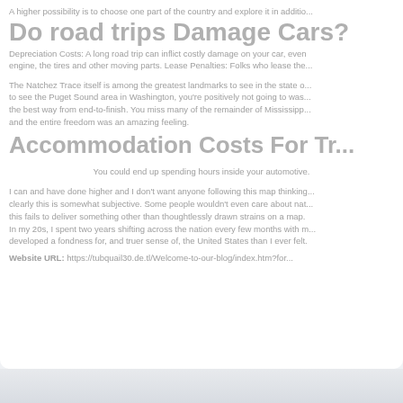A higher possibility is to choose one part of the country and explore it in additio...
Do road trips Damage Cars?
Depreciation Costs: A long road trip can inflict costly damage on your car, even engine, the tires and other moving parts. Lease Penalties: Folks who lease the...
The Natchez Trace itself is among the greatest landmarks to see in the state o... to see the Puget Sound area in Washington, you're positively not going to was... the best way from end-to-finish. You miss many of the remainder of Mississipp... and the entire freedom was an amazing feeling.
Accommodation Costs For Tr...
You could end up spending hours inside your automotive.
I can and have done higher and I don't want anyone following this map thinking... clearly this is somewhat subjective. Some people wouldn't even care about nat... this fails to deliver something other than thoughtlessly drawn strains on a map. In my 20s, I spent two years shifting across the nation every few months with m... developed a fondness for, and truer sense of, the United States than I ever felt.
Website URL: https://tubquail30.de.tl/Welcome-to-our-blog/index.htm?for...